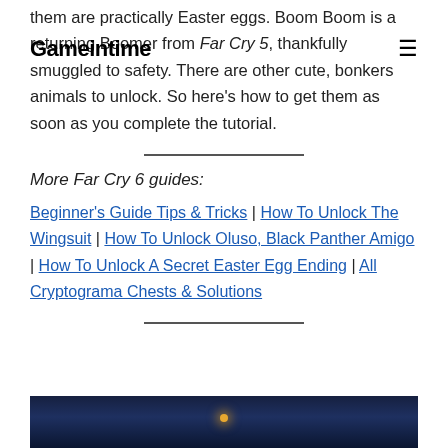Gameintime
them are practically Easter eggs. Boom Boom is a returning Boomer from Far Cry 5, thankfully smuggled to safety. There are other cute, bonkers animals to unlock. So here's how to get them as soon as you complete the tutorial.
More Far Cry 6 guides:
Beginner's Guide Tips & Tricks | How To Unlock The Wingsuit | How To Unlock Oluso, Black Panther Amigo | How To Unlock A Secret Easter Egg Ending | All Cryptograma Chests & Solutions
[Figure (photo): Dark game screenshot, likely from Far Cry 6, with a warm orange light visible in the center against a dark nighttime background.]